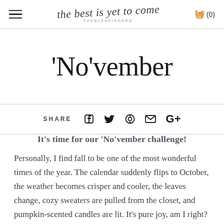the best is yet to come | THEBLESSISGERD | (0)
'No'vember
SHARE
It's time for our 'No'vember challenge!
Personally, I find fall to be one of the most wonderful times of the year. The calendar suddenly flips to October, the weather becomes crisper and cooler, the leaves change, cozy sweaters are pulled from the closet, and pumpkin-scented candles are lit. It's pure joy, am I right?